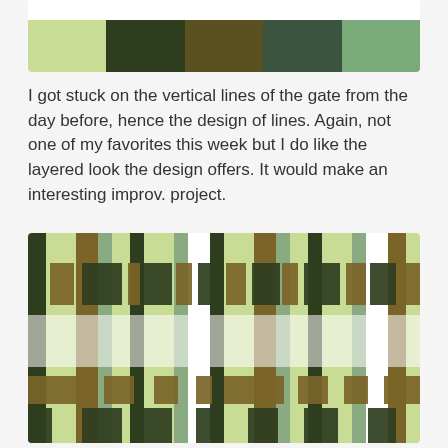[Figure (illustration): Color palette swatches showing five colors: light green, dark forest green, olive/khaki brown, dark teal green, and medium sage green]
I got stuck on the vertical lines of the gate from the day before, hence the design of lines. Again, not one of my favorites this week but I do like the layered look the design offers. It would make an interesting improv. project.
[Figure (illustration): A quilt design showing vertical strips in a repeating pattern with colors: light yellow-green, olive brown, dark forest green, sage green, and white, creating a woven basket-weave layered look]